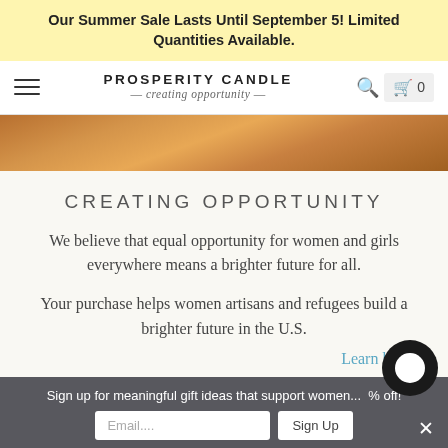Our Summer Sale Lasts Until September 5! Limited Quantities Available.
[Figure (screenshot): Prosperity Candle navigation bar with hamburger menu, logo with 'PROSPERITY CANDLE — creating opportunity —', search icon, and cart icon showing 0]
[Figure (photo): Partial hero image showing wooden floor in warm tones]
CREATING OPPORTUNITY
We believe that equal opportunity for women and girls everywhere means a brighter future for all.
Your purchase helps women artisans and refugees build a brighter future in the U.S.
Learn how
Sign up for meaningful gift ideas that support women... % off!
Email....
Sign Up